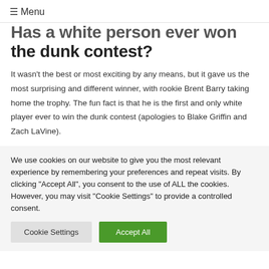≡ Menu
Has a white person ever won the dunk contest?
It wasn't the best or most exciting by any means, but it gave us the most surprising and different winner, with rookie Brent Barry taking home the trophy. The fun fact is that he is the first and only white player ever to win the dunk contest (apologies to Blake Griffin and Zach LaVine).
We use cookies on our website to give you the most relevant experience by remembering your preferences and repeat visits. By clicking "Accept All", you consent to the use of ALL the cookies. However, you may visit "Cookie Settings" to provide a controlled consent.
Cookie Settings | Accept All